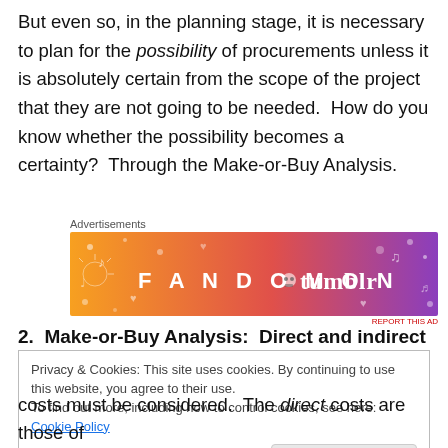But even so, in the planning stage, it is necessary to plan for the possibility of procurements unless it is absolutely certain from the scope of the project that they are not going to be needed.  How do you know whether the possibility becomes a certainty?  Through the Make-or-Buy Analysis.
[Figure (other): Fandom on Tumblr advertisement banner — orange and purple gradient background with musical and decorative icons, text reading 'FANDOM ON tumblr']
2.  Make-or-Buy Analysis:  Direct and indirect costs
Privacy & Cookies: This site uses cookies. By continuing to use this website, you agree to their use.
To find out more, including how to control cookies, see here: Cookie Policy
costs must be considered.  The direct costs are those of